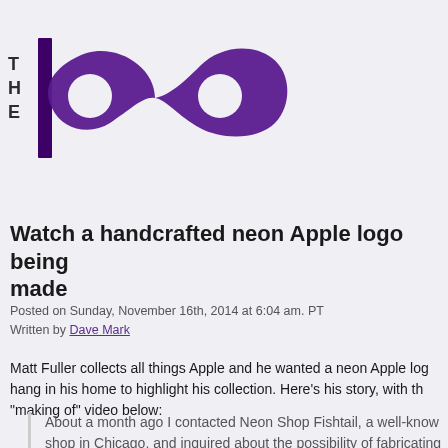[Figure (logo): The Loop logo — stylized infinity symbol in purple with 'THE' in small bold letters to the left and 'loop' text integrated into the infinity design]
Watch a handcrafted neon Apple logo being made
Posted on Sunday, November 16th, 2014 at 6:04 am. PT
Written by Dave Mark
Matt Fuller collects all things Apple and he wanted a neon Apple logo hang in his home to highlight his collection. Here's his story, with the "making of" video below:
About a month ago I contacted Neon Shop Fishtail, a well-known shop in Chicago, and inquired about the possibility of fabricating a neon Apple logo for my suburban Chicago home.